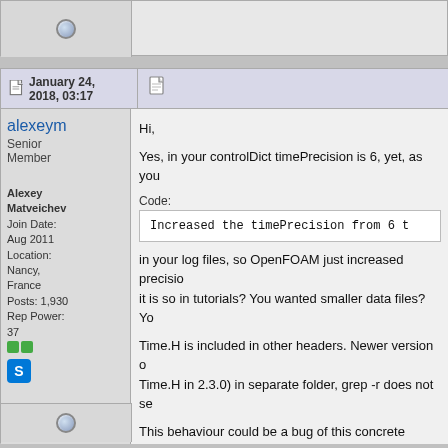[Figure (other): Top row with avatar area and radio-style button]
January 24, 2018, 03:17
alexeym
Senior Member
Alexey Matveichev
Join Date: Aug 2011
Location: Nancy, France
Posts: 1,930
Rep Power: 37
Hi,
Yes, in your controlDict timePrecision is 6, yet, as you
Code:
Increased the timePrecision from 6 t
in your log files, so OpenFOAM just increased precisio... it is so in tutorials? You wanted smaller data files? Yo...
Time.H is included in other headers. Newer version o... Time.H in 2.3.0) in separate folder, grep -r does not se...
This behaviour could be a bug of this concrete version... have doubts the version is still maintained.